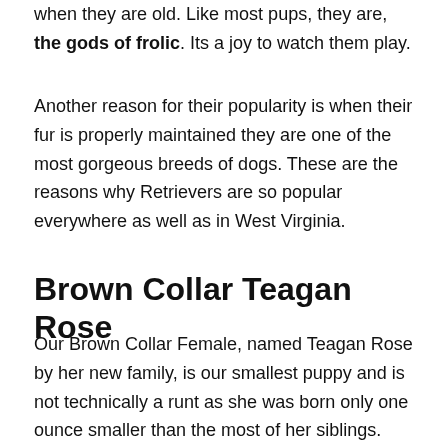when they are old. Like most pups, they are, the gods of frolic. Its a joy to watch them play.
Another reason for their popularity is when their fur is properly maintained they are one of the most gorgeous breeds of dogs. These are the reasons why Retrievers are so popular everywhere as well as in West Virginia.
Brown Collar Teagan Rose
Our Brown Collar Female, named Teagan Rose by her new family, is our smallest puppy and is not technically a runt as she was born only one ounce smaller than the most of her siblings. She was one of the first to open her eyes and hear and can be found in the middle of all the scrums with her larger brothers. She will be available to move into a new